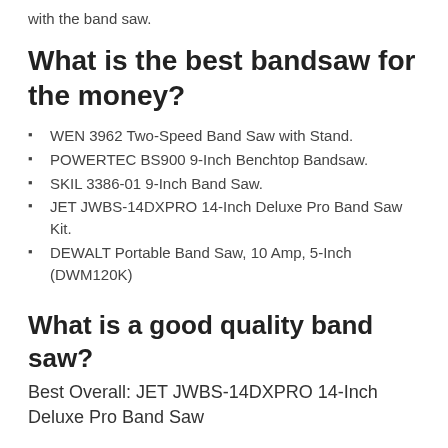with the band saw.
What is the best bandsaw for the money?
WEN 3962 Two-Speed Band Saw with Stand.
POWERTEC BS900 9-Inch Benchtop Bandsaw.
SKIL 3386-01 9-Inch Band Saw.
JET JWBS-14DXPRO 14-Inch Deluxe Pro Band Saw Kit.
DEWALT Portable Band Saw, 10 Amp, 5-Inch (DWM120K)
What is a good quality band saw?
Best Overall: JET JWBS-14DXPRO 14-Inch Deluxe Pro Band Saw